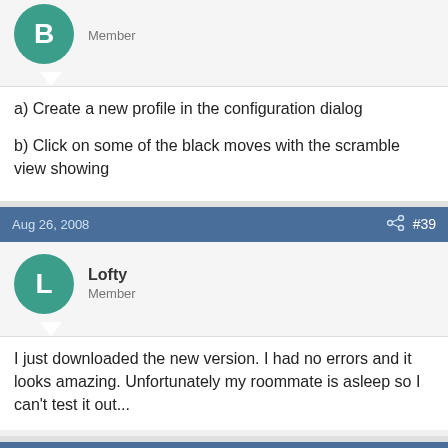Member
a) Create a new profile in the configuration dialog
b) Click on some of the black moves with the scramble view showing
Aug 26, 2008  #39
Lofty
Member
I just downloaded the new version. I had no errors and it looks amazing. Unfortunately my roommate is asleep so I can't test it out...
Aug 27, 2008  #40
Karthik
Member